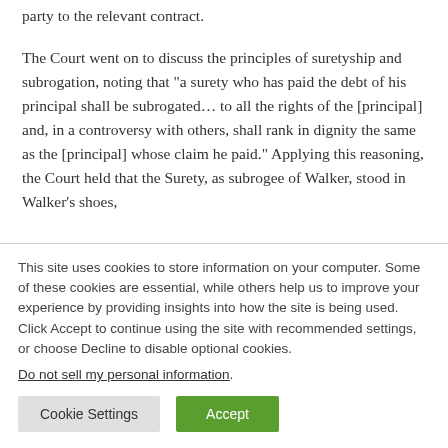party to the relevant contract.
The Court went on to discuss the principles of suretyship and subrogation, noting that "a surety who has paid the debt of his principal shall be subrogated... to all the rights of the [principal] and, in a controversy with others, shall rank in dignity the same as the [principal] whose claim he paid." Applying this reasoning, the Court held that the Surety, as subrogee of Walker, stood in Walker's shoes,
This site uses cookies to store information on your computer. Some of these cookies are essential, while others help us to improve your experience by providing insights into how the site is being used. Click Accept to continue using the site with recommended settings, or choose Decline to disable optional cookies.
Do not sell my personal information.